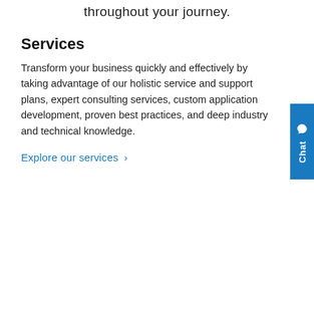throughout your journey.
Services
Transform your business quickly and effectively by taking advantage of our holistic service and support plans, expert consulting services, custom application development, proven best practices, and deep industry and technical knowledge.
Explore our services ›